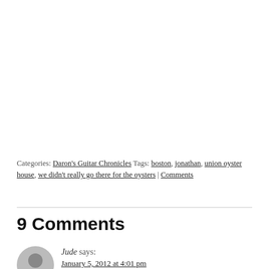Categories: Daron's Guitar Chronicles Tags: boston, jonathan, union oyster house, we didn't really go there for the oysters | Comments
9 Comments
Jude says: January 5, 2012 at 4:01 pm